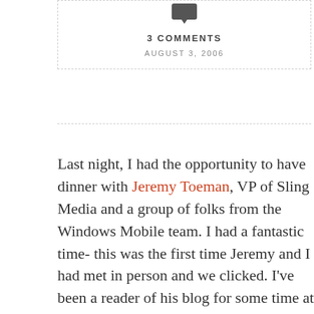[Figure (other): Speech bubble / comment icon in dark gray]
3 COMMENTS
AUGUST 3, 2006
Last night, I had the opportunity to have dinner with Jeremy Toeman, VP of Sling Media and a group of folks from the Windows Mobile team. I had a fantastic time- this was the first time Jeremy and I had met in person and we clicked. I've been a reader of his blog for some time at www.livedigitally.com which he does for fun on the side as I do this site. We both use Shure headphones. We